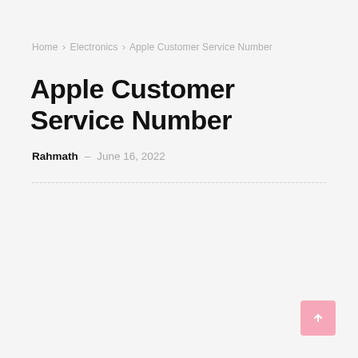Home > Electronics > Apple Customer Service Number
Apple Customer Service Number
Rahmath – June 16, 2022